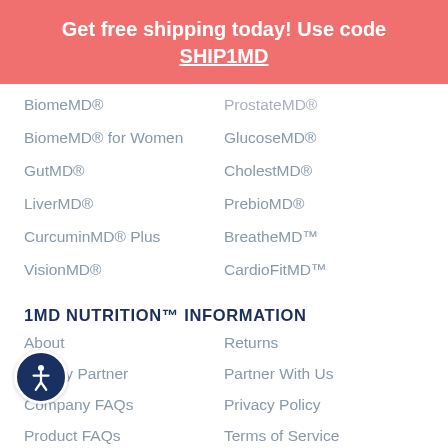Get free shipping today! Use code SHIP1MD
BiomeMD®
ProstateMD®
BiomeMD® for Women
GlucoseMD®
GutMD®
CholestMD®
LiverMD®
PrebioMD®
CurcuminMD® Plus
BreatheMD™
VisionMD®
CardioFitMD™
1MD NUTRITION™ INFORMATION
About
Returns
Charity Partner
Partner With Us
Company FAQs
Privacy Policy
Product FAQs
Terms of Service